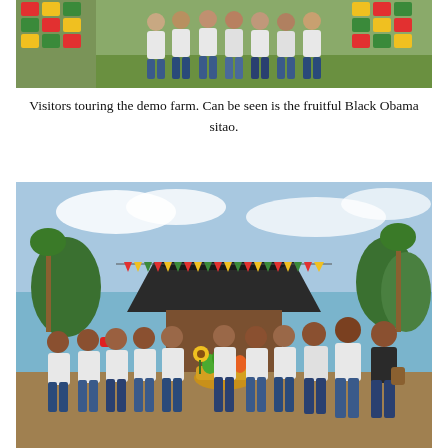[Figure (photo): Group of visitors standing in front of a banner/wall decorated with colorful flags at a demo farm, outdoors with green grass and trees in the background.]
Visitors touring the demo farm. Can be seen is the fruitful Black Obama sitao.
[Figure (photo): Large group of people in white shirts standing in front of a nipa hut decorated with colorful pennant flags, with a basket of vegetables/produce in front. Outdoor setting with blue sky and coconut trees in background.]